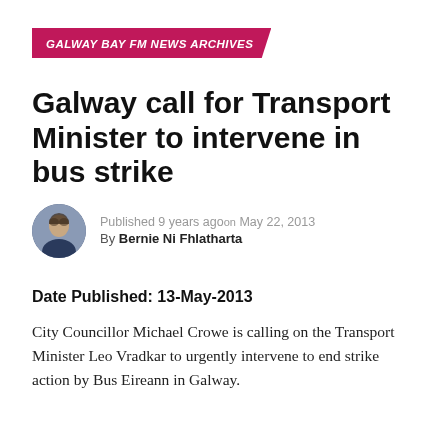GALWAY BAY FM NEWS ARCHIVES
Galway call for Transport Minister to intervene in bus strike
Published 9 years ago on May 22, 2013
By Bernie Ni Fhlatharta
Date Published: 13-May-2013
City Councillor Michael Crowe is calling on the Transport Minister Leo Vradkar to urgently intervene to end strike action by Bus Eireann in Galway.